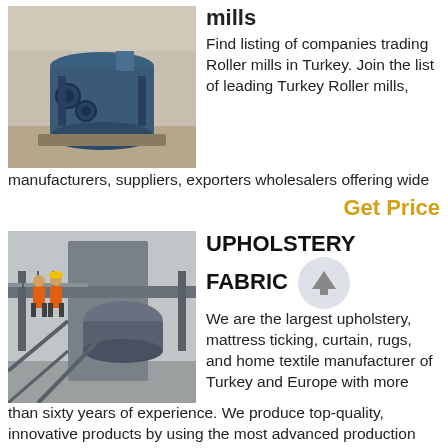[Figure (photo): Photo of a large industrial roller mill machine, blue-painted, outdoors at a facility.]
mills
Find listing of companies trading Roller mills in Turkey. Join the list of leading Turkey Roller mills, manufacturers, suppliers, exporters wholesalers offering wide
Get Price
[Figure (photo): Photo of two workers in safety vests on an elevated platform at an industrial facility with large machinery.]
UPHOLSTERY FABRIC
We are the largest upholstery, mattress ticking, curtain, rugs, and home textile manufacturer of Turkey and Europe with more than sixty years of experience. We produce top-quality, innovative products by using the most advanced production technologies and the finest quality raw materials for our